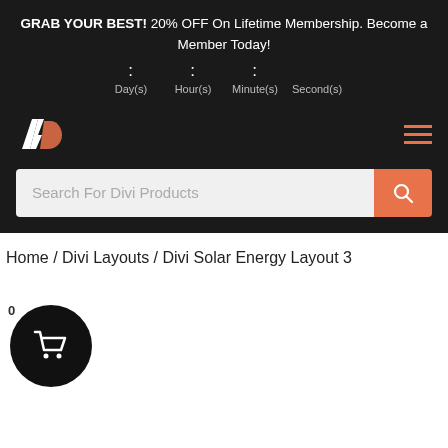GRAB YOUR BEST! 20% OFF On Lifetime Membership. Become a Member Today! Day(s) Hour(s) Minute(s) Second(s)
[Figure (logo): AD logo - white A and orange D lettermark]
Search For Divi Products
Home / Divi Layouts / Divi Solar Energy Layout 3
[Figure (illustration): Shopping cart icon inside a black circle with a 0 badge]